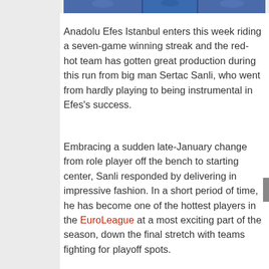[Figure (photo): Top strip of a sports photo showing basketball players in blue uniforms]
Anadolu Efes Istanbul enters this week riding a seven-game winning streak and the red-hot team has gotten great production during this run from big man Sertac Sanli, who went from hardly playing to being instrumental in Efes's success.
Embracing a sudden late-January change from role player off the bench to starting center, Sanli responded by delivering in impressive fashion. In a short period of time, he has become one of the hottest players in the EuroLeague at a most exciting part of the season, down the final stretch with teams fighting for playoff spots.